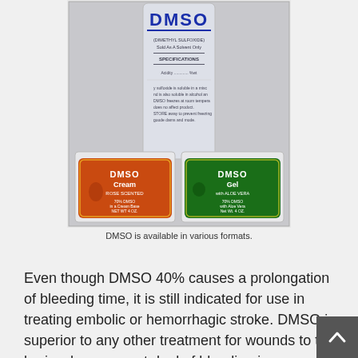[Figure (photo): Photo of DMSO products: a bottle labeled DMSO (Dimethyl Sulfoxide) with specifications text, and two white round jars — one with an orange label reading 'DMSO Cream Rose Scented' and one with a green label reading 'DMSO Gel with Aloe Vera'.]
DMSO is available in various formats.
Even though DMSO 40% causes a prolongation of bleeding time, it is still indicated for use in treating embolic or hemorrhagic stroke. DMSO is superior to any other treatment for wounds to the brain where a great deal of bleeding is present (Morton, 1993).